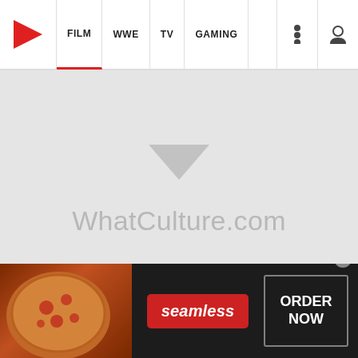FILM | WWE | TV | GAMING
[Figure (logo): WhatCulture.com watermark logo on grey background with downward triangle]
Ranking Every Live-Action Superman Suit From Worst To Best
[Figure (illustration): WhatCulture logo/watermark on grey thumbnail background]
[Figure (photo): Seamless advertisement banner with pizza image, seamless red button, and ORDER NOW button]